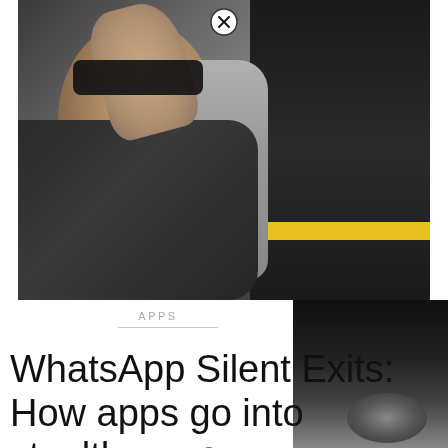[Figure (photo): A woman holding sunglasses up to her face, wearing a grey knit sweater sleeve and dark scarf, standing near a dark panel with a yellow stripe, photographed in a transit or urban setting.]
APPS
WhatsApp Silent Exits: How apps go into stealth mo•e